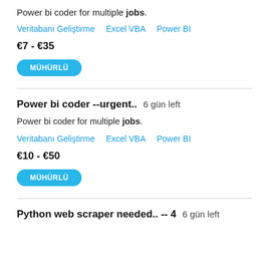Power bi coder for multiple jobs.
Veritabanı Geliştirme   Excel VBA   Power BI
€7 - €35
MÜHÜRLÜ
Power bi coder --urgent..  6 gün left
Power bi coder for multiple jobs.
Veritabanı Geliştirme   Excel VBA   Power BI
€10 - €50
MÜHÜRLÜ
Python web scraper needed.. -- 4  6 gün left